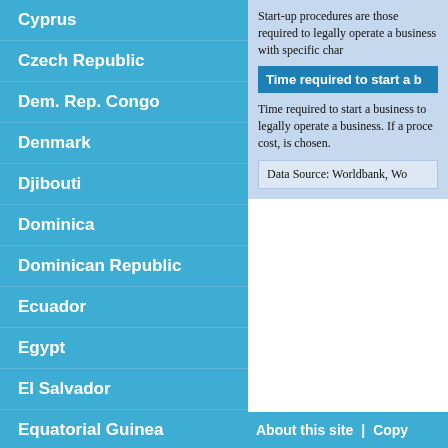Cyprus
Czech Republic
Dem. Rep. Congo
Denmark
Djibouti
Dominica
Dominican Republic
Ecuador
Egypt
El Salvador
Equatorial Guinea
Eritrea
Estonia
Ethiopia
Fiji
Start-up procedures are those required to legally operate a business. If a process can be done faster at additional cost, is chosen.
Time required to start a b
Time required to start a business to legally operate a business. If a procedure can be done at lower cost, is chosen.
Data Source: Worldbank, Wo
About this site | Copy